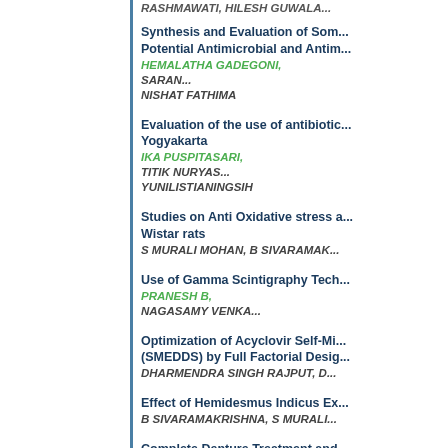RASHMAWATI, HILESH GUWALA...
Synthesis and Evaluation of Som... Potential Antimicrobial and Antim...
HEMALATHA GADEGONI, SARAN... NISHAT FATHIMA
Evaluation of the use of antibiotic... Yogyakarta
IKA PUSPITASARI, TITIK NURYAS... YUNILISTIANINGSIH
Studies on Anti Oxidative stress a... Wistar rats
S MURALI MOHAN, B SIVARAMAK...
Use of Gamma Scintigraphy Tech...
PRANESH B, NAGASAMY VENKA...
Optimization of Acyclovir Self-Mi... (SMEDDS) by Full Factorial Desig...
DHARMENDRA SINGH RAJPUT, D...
Effect of Hemidesmus Indicus Ex...
B SIVARAMAKRISHNA, S MURALI...
Complete Denture Treatment and...
DR FAHAD AHMED S, DR C J VEN... HELEN MARY ABRAHAM